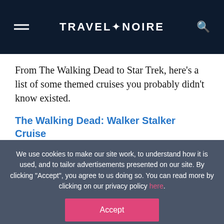TRAVEL+NOIRE
From The Walking Dead to Star Trek, here's a list of some themed cruises you probably didn't know existed.
The Walking Dead: Walker Stalker Cruise
We use cookies to make our site work, to understand how it is used, and to tailor advertisements presented on our site. By clicking "Accept", you agree to us doing so. You can read more by clicking on our privacy policy here.
Accept